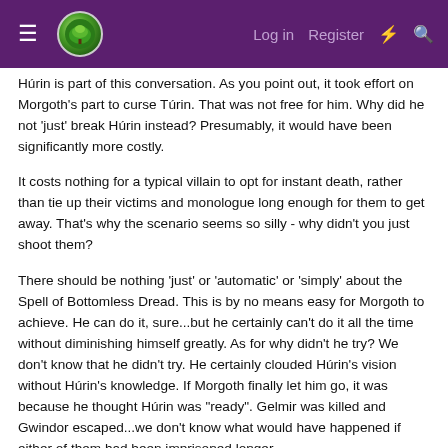≡ [logo] Log in  Register  ⚡ 🔍
Húrin is part of this conversation. As you point out, it took effort on Morgoth's part to curse Túrin. That was not free for him. Why did he not 'just' break Húrin instead? Presumably, it would have been significantly more costly.
It costs nothing for a typical villain to opt for instant death, rather than tie up their victims and monologue long enough for them to get away. That's why the scenario seems so silly - why didn't you just shoot them?
There should be nothing 'just' or 'automatic' or 'simply' about the Spell of Bottomless Dread. This is by no means easy for Morgoth to achieve. He can do it, sure...but he certainly can't do it all the time without diminishing himself greatly. As for why didn't he try? We don't know that he didn't try. He certainly clouded Húrin's vision without Húrin's knowledge. If Morgoth finally let him go, it was because he thought Húrin was "ready". Gelmir was killed and Gwindor escaped...we don't know what would have happened if either of them had been imprisoned longer.